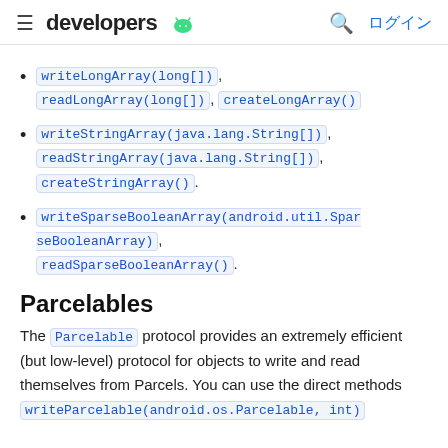developers (android logo) | ログイン
writeLongArray(long[]), readLongArray(long[]), createLongArray()
writeStringArray(java.lang.String[]), readStringArray(java.lang.String[]), createStringArray().
writeSparseBooleanArray(android.util.SparseBooleanArray), readSparseBooleanArray().
Parcelables
The Parcelable protocol provides an extremely efficient (but low-level) protocol for objects to write and read themselves from Parcels. You can use the direct methods writeParcelable(android.os.Parcelable, int)